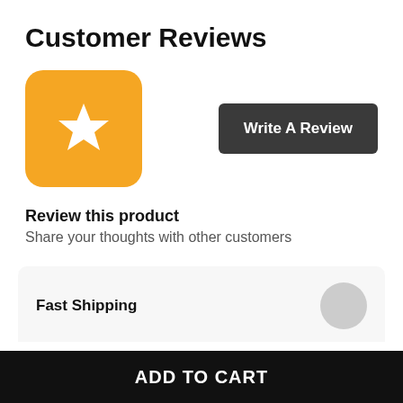Customer Reviews
[Figure (illustration): Orange rounded square icon with a white star in the center]
Write A Review
Review this product
Share your thoughts with other customers
Fast Shipping
ADD TO CART